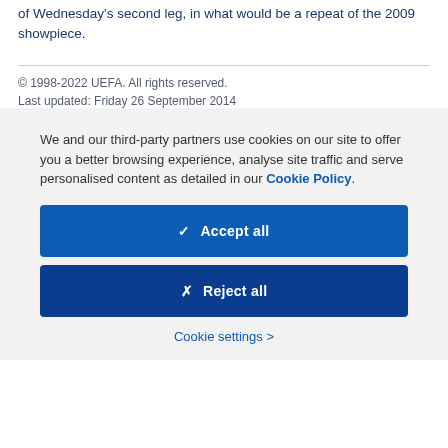of Wednesday's second leg, in what would be a repeat of the 2009 showpiece.
© 1998-2022 UEFA. All rights reserved.
Last updated: Friday 26 September 2014
We and our third-party partners use cookies on our site to offer you a better browsing experience, analyse site traffic and serve personalised content as detailed in our Cookie Policy.
✓  Accept all
✗  Reject all
Cookie settings >